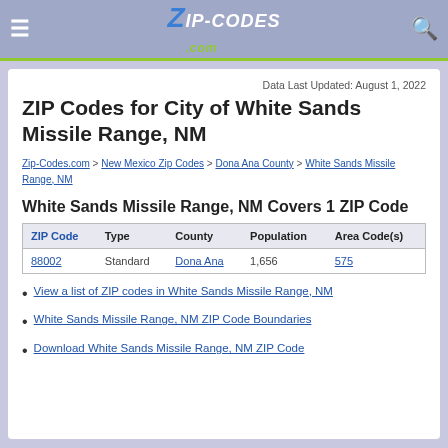ZIP-CODES.com
Data Last Updated: August 1, 2022
ZIP Codes for City of White Sands Missile Range, NM
Zip-Codes.com > New Mexico Zip Codes > Dona Ana County > White Sands Missile Range, NM
White Sands Missile Range, NM Covers 1 ZIP Code
| ZIP Code | Type | County | Population | Area Code(s) |
| --- | --- | --- | --- | --- |
| 88002 | Standard | Dona Ana | 1,656 | 575 |
View a list of ZIP codes in White Sands Missile Range, NM
White Sands Missile Range, NM ZIP Code Boundaries
Download White Sands Missile Range, NM ZIP Code